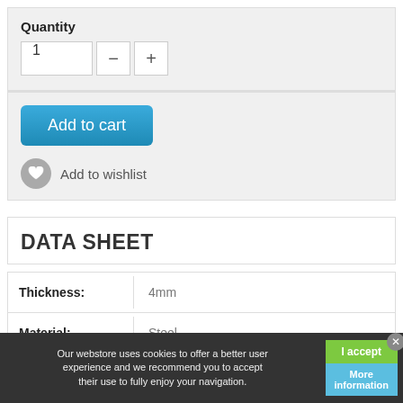Quantity
1
Add to cart
Add to wishlist
DATA SHEET
|  |  |
| --- | --- |
| Thickness: | 4mm |
| Material: | Steel |
Our webstore uses cookies to offer a better user experience and we recommend you to accept their use to fully enjoy your navigation.
I accept
More information